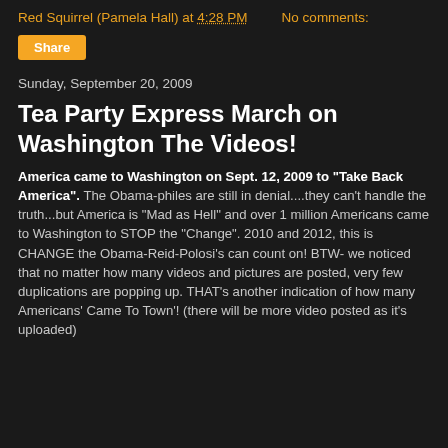Red Squirrel (Pamela Hall) at 4:28 PM    No comments:
Share
Sunday, September 20, 2009
Tea Party Express March on Washington The Videos!
America came to Washington on Sept. 12, 2009 to "Take Back America". The Obama-philes are still in denial....they can't handle the truth...but America is "Mad as Hell" and over 1 million Americans came to Washington to STOP the "Change". 2010 and 2012, this is CHANGE the Obama-Reid-Polosi's can count on! BTW- we noticed that no matter how many videos and pictures are posted, very few duplications are popping up. THAT's another indication of how many Americans' Came To Town'! (there will be more video posted as it's uploaded)